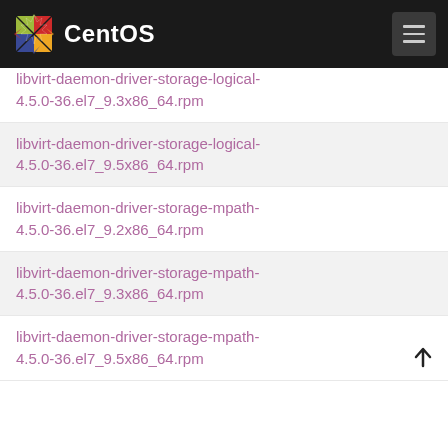CentOS
libvirt-daemon-driver-storage-logical-4.5.0-36.el7_9.3x86_64.rpm
libvirt-daemon-driver-storage-logical-4.5.0-36.el7_9.5x86_64.rpm
libvirt-daemon-driver-storage-mpath-4.5.0-36.el7_9.2x86_64.rpm
libvirt-daemon-driver-storage-mpath-4.5.0-36.el7_9.3x86_64.rpm
libvirt-daemon-driver-storage-mpath-4.5.0-36.el7_9.5x86_64.rpm